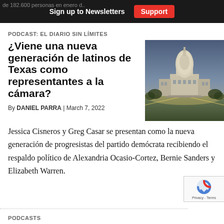Sign up to Newsletters  Support
PODCAST: EL DIARIO SIN LÍMITES
¿Viene una nueva generación de latinos de Texas como representantes a la cámara?
By DANIEL PARRA | March 7, 2022
[Figure (photo): Aerial/dusk photo of the US Capitol building in Washington DC]
Jessica Cisneros y Greg Casar se presentan como la nueva generación de progresistas del partido demócrata recibiendo el respaldo político de Alexandria Ocasio-Cortez, Bernie Sanders y Elizabeth Warren.
PODCASTS